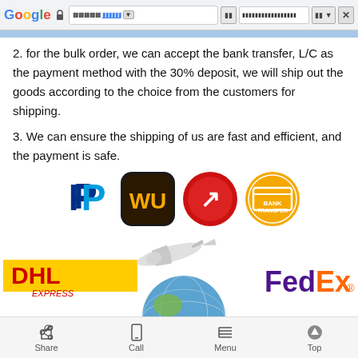Google browser chrome bar with URL
2. for the bulk order, we can accept the bank transfer, L/C as the payment method with the 30% deposit, we will ship out the goods according to the choice from the customers for shipping.
3. We can ensure the shipping of us are fast and efficient, and the payment is safe.
[Figure (logo): Payment method logos: PayPal, Western Union, G-pay/redirect, Bank Transfer]
[Figure (photo): Shipping carrier logos and illustration: DHL Express, airplane over globe with cargo ship, FedEx, UPS]
Share | Call | Menu | Top